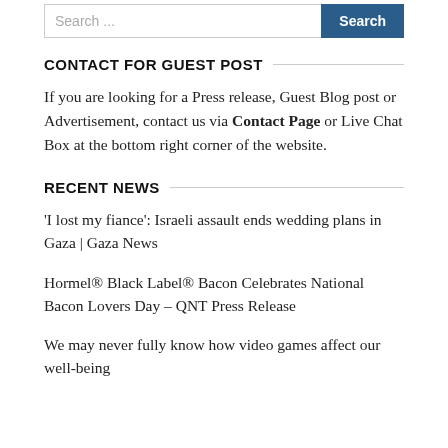Search ...  Search
CONTACT FOR GUEST POST
If you are looking for a Press release, Guest Blog post or Advertisement, contact us via Contact Page or Live Chat Box at the bottom right corner of the website.
RECENT NEWS
'I lost my fiance': Israeli assault ends wedding plans in Gaza | Gaza News
Hormel® Black Label® Bacon Celebrates National Bacon Lovers Day – QNT Press Release
We may never fully know how video games affect our well-being